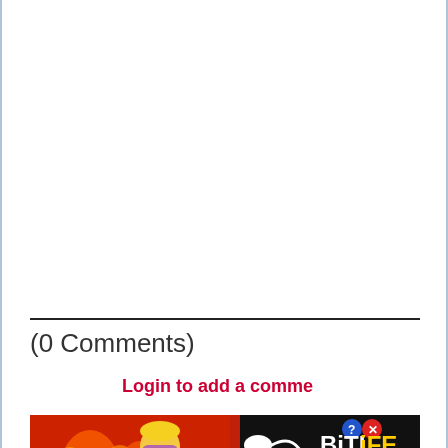(0 Comments)
Login to add a comme
[Figure (photo): Advertisement banner for BitLife mobile game with red background, fire imagery, a cartoon blonde woman facepalming, 'FAIL' text, sperm icon, BitLife logo with question mark and X icons, and 'START A NEW LIFE' subtitle on black bar]